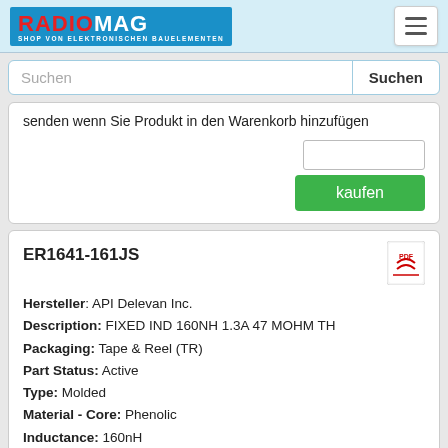RADIOMAG SHOP VON ELEKTRONISCHEN BAUELEMENTEN
senden wenn Sie Produkt in den Warenkorb hinzufügen
ER1641-161JS
Hersteller: API Delevan Inc.
Description: FIXED IND 160NH 1.3A 47 MOHM TH
Packaging: Tape & Reel (TR)
Part Status: Active
Type: Molded
Material - Core: Phenolic
Inductance: 160nH
Tolerance: ±5%
Current Rating (Amps): 1.3A
Shielding: Shielded
DC Resistance (DCR): 47mOhm Max
Q @ Freq: 50 @ 25MHz
Frequency - Self Resonant: 250MHz
Operating Temperature: -55°C ~ 105°C